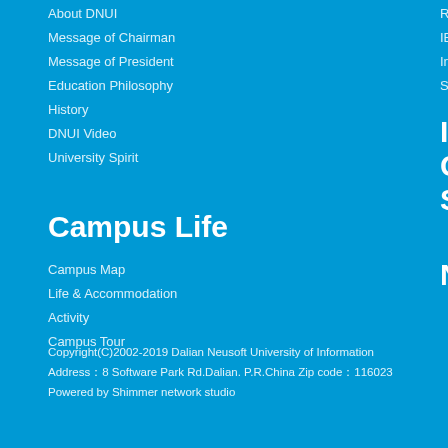About DNUI
Message of Chairman
Message of President
Education Philosophy
History
DNUI Video
University Spirit
Research
IBT
Innovation& Start-ups
International Cooperation
Schools&Departments
News
Campus Life
Campus Map
Life & Accommodation
Activity
Campus Tour
Copyright(C)2002-2019 Dalian Neusoft University of Information
Address：8 Software Park Rd.Dalian. P.R.China Zip code：116023
Powered by Shimmer network studio